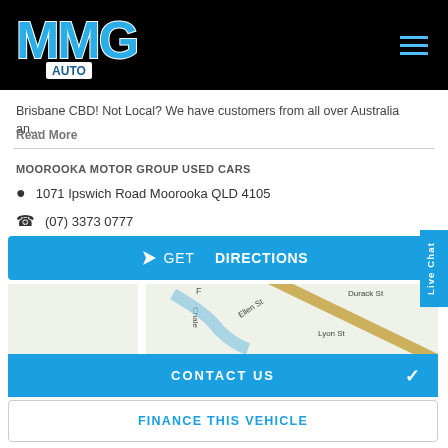[Figure (logo): MMG AUTO logo in blue and white on black header background]
Brisbane CBD! Not Local? We have customers from all over Australia an...
Read More
MOOROOKA MOTOR GROUP USED CARS
1071 Ipswich Road Moorooka QLD 4105
(07) 3373 0777
GET DIRECTIONS
[Figure (map): Google Maps snippet showing Ipswich Road area in Moorooka, QLD with Ellen St, Lyon St, Durack St visible]
CONTACT US
FINANCE THIS VEHICLE